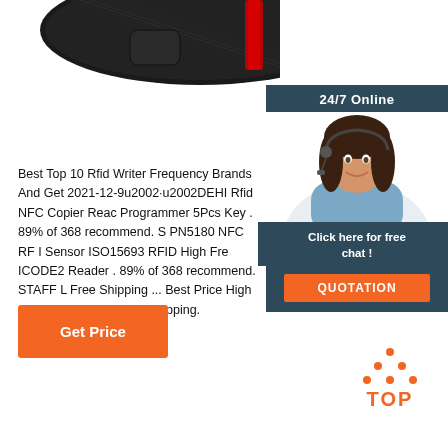[Figure (photo): Close-up of a black knitted/woven strap or device with red accent]
[Figure (photo): Customer service agent woman with headset smiling, shown in sidebar]
24/7 Online
Click here for free chat !
QUOTATION
Best Top 10 Rfid Writer Frequency Brands And Get 2021-12-9u2002·u2002DEHI Rfid NFC Copier Reader Programmer 5Pcs Key . 89% of 368 recommend. S PN5180 NFC RF I Sensor ISO15693 RFID High Fre ICODE2 Reader . 89% of 368 recommend. STAFF L Free Shipping ... Best Price High quality dvd ide asu free shipping.
Get Price
[Figure (logo): TOP logo with orange dot triangle pattern above text]